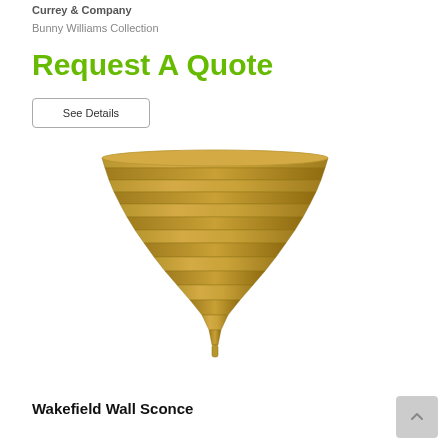Currey & Company
Bunny Williams Collection
Request A Quote
See Details
[Figure (photo): Gold/brass Wakefield Wall Sconce with a triangular stepped cone shape, pointing downward, mounted on wall.]
Wakefield Wall Sconce